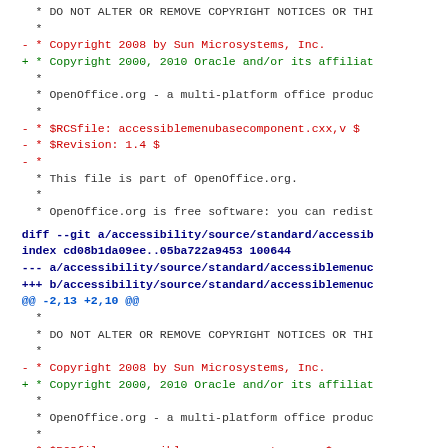* DO NOT ALTER OR REMOVE COPYRIGHT NOTICES OR THI
*
- * Copyright 2008 by Sun Microsystems, Inc.
+ * Copyright 2000, 2010 Oracle and/or its affiliat
*
* OpenOffice.org - a multi-platform office produc
*
- * $RCSfile: accessiblemenubasecomponent.cxx,v $
- * $Revision: 1.4 $
- *
* This file is part of OpenOffice.org.
*
* OpenOffice.org is free software: you can redist
diff --git a/accessibility/source/standard/accessib
index cd08b1da09ee..05ba722a9453 100644
--- a/accessibility/source/standard/accessiblemenuc
+++ b/accessibility/source/standard/accessiblemenuc
@@ -2,13 +2,10 @@
*
* DO NOT ALTER OR REMOVE COPYRIGHT NOTICES OR THI
*
- * Copyright 2008 by Sun Microsystems, Inc.
+ * Copyright 2000, 2010 Oracle and/or its affiliat
*
* OpenOffice.org - a multi-platform office produc
*
- * $RCSfile: accessiblemenucomponent.cxx,v $
- * $Revision: 1.4 $
*